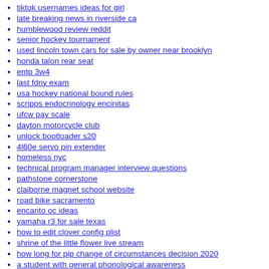tiktok usernames ideas for girl
late breaking news in riverside ca
humblewood review reddit
senior hockey tournament
used lincoln town cars for sale by owner near brooklyn
honda talon rear seat
entp 3w4
last fdny exam
usa hockey national bound rules
scripps endocrinology encinitas
ufcw pay scale
dayton motorcycle club
unlock bootloader s20
4l60e servo pin extender
homeless nyc
technical program manager interview questions
pathstone cornerstone
claiborne magnet school website
road bike sacramento
encanto oc ideas
yamaha r3 for sale texas
how to edit clover config plist
shrine of the little flower live stream
how long for pip change of circumstances decision 2020
a student with general phonological awareness